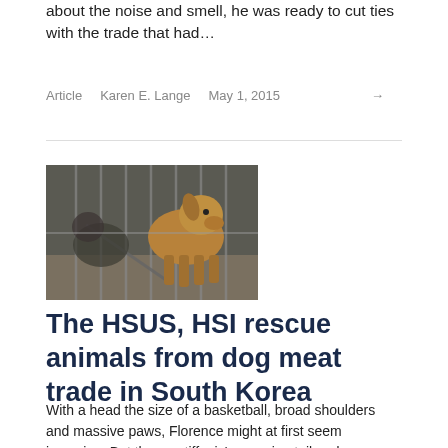about the noise and smell, he was ready to cut ties with the trade that had…
Article   Karen E. Lange   May 1, 2015
[Figure (photo): Dogs in a cage at a dog meat farm in South Korea]
The HSUS, HSI rescue animals from dog meat trade in South Korea
With a head the size of a basketball, broad shoulders and massive paws, Florence might at first seem imposing. But the mastiff mix's wagging tail and puppy-like wonder in her wrinkle-topped eyes are endearing. When you too…